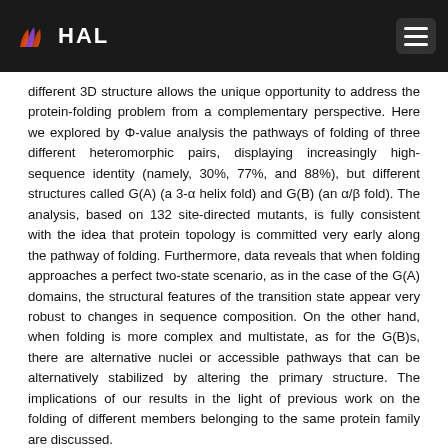HAL
different 3D structure allows the unique opportunity to address the protein-folding problem from a complementary perspective. Here we explored by Φ-value analysis the pathways of folding of three different heteromorphic pairs, displaying increasingly high-sequence identity (namely, 30%, 77%, and 88%), but different structures called G(A) (a 3-α helix fold) and G(B) (an α/β fold). The analysis, based on 132 site-directed mutants, is fully consistent with the idea that protein topology is committed very early along the pathway of folding. Furthermore, data reveals that when folding approaches a perfect two-state scenario, as in the case of the G(A) domains, the structural features of the transition state appear very robust to changes in sequence composition. On the other hand, when folding is more complex and multistate, as for the G(B)s, there are alternative nuclei or accessible pathways that can be alternatively stabilized by altering the primary structure. The implications of our results in the light of previous work on the folding of different members belonging to the same protein family are discussed.
Document type : Journal articles
Domain : Life Sciences [q-bio] / Biochemistry, Molecular Biology